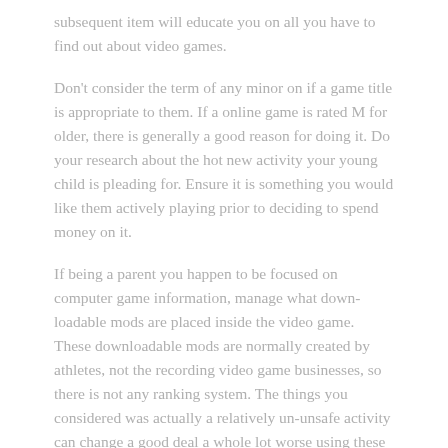subsequent item will educate you on all you have to find out about video games.
Don't consider the term of any minor on if a game title is appropriate to them. If a online game is rated M for older, there is generally a good reason for doing it. Do your research about the hot new activity your young child is pleading for. Ensure it is something you would like them actively playing prior to deciding to spend money on it.
If being a parent you happen to be focused on computer game information, manage what down-loadable mods are placed inside the video game. These downloadable mods are normally created by athletes, not the recording video game businesses, so there is not any ranking system. The things you considered was actually a relatively un-unsafe activity can change a good deal a whole lot worse using these mods.
Convenience is extremely important. Practically nothing hampers a marathon game playing program faster when